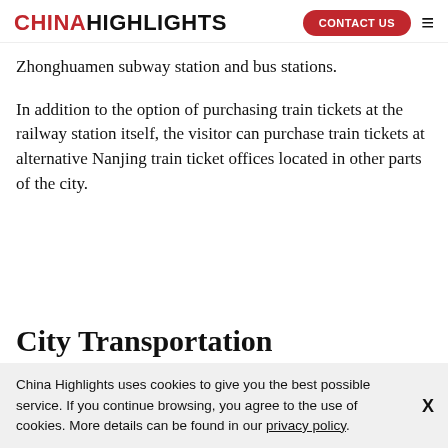CHINA HIGHLIGHTS | CONTACT US
Zhonghuamen subway station and bus stations.
In addition to the option of purchasing train tickets at the railway station itself, the visitor can purchase train tickets at alternative Nanjing train ticket offices located in other parts of the city.
City Transportation
China Highlights uses cookies to give you the best possible service. If you continue browsing, you agree to the use of cookies. More details can be found in our privacy policy.